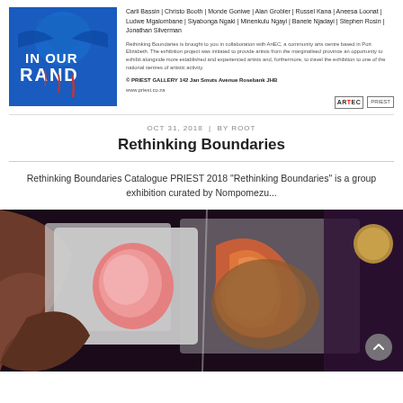[Figure (photo): Blue painting showing a figure with white text 'IN OUR RAND' in dripping paint style]
Carli Bassin | Christo Booth | Monde Goniwe | Alan Grobler | Russel Kana | Aneesa Loonat | Ludwe Mgalombane | Siyabonga Ngaki | Minenkulu Ngayi | Banele Njadayi | Stephen Rosin | Jonathan Silverman
Rethinking Boundaries is brought to you in collaboration with ArtEC, a community arts centre based in Port Elizabeth. The exhibition project was initiated to provide artists from the marginalised province an opportunity to exhibit alongside more established and experienced artists and, furthermore, to travel the exhibition to one of the national centres of artistic activity.
© PRIEST GALLERY 142 Jan Smuts Avenue Rosebank JHB
www.priest.co.za
OCT 31, 2018  |  BY ROOT
Rethinking Boundaries
Rethinking Boundaries Catalogue PRIEST 2018 "Rethinking Boundaries" is a group exhibition curated by Nompomezu...
[Figure (photo): Abstract painting with brown, white, pink and orange forms against a dark background with a golden circle on the right]